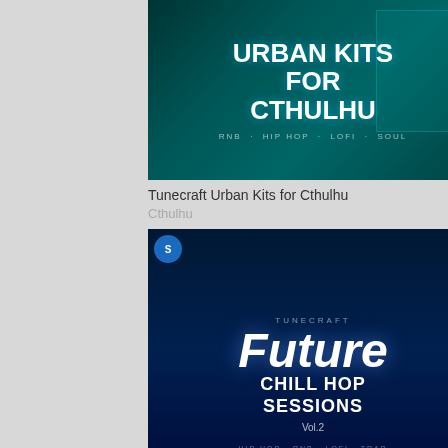[Figure (illustration): Tunecraft Urban Kits for Cthulhu album art — dark teal background with city silhouette, bold white text reading URBAN KITS FOR CTHULHU, subtitle RNB · HIP HOP · LOFI · SOUL]
Tunecraft Urban Kits for Cthulhu
Cthulhu
[Figure (illustration): Tunecraft Future Chill Hop Sessions Vol.2 album art — dark blue/navy background with city lights reflection, large italic FUTURE text, CHILL HOP SESSIONS VOL.2, tags HIP HOP · RNB · LOFI · TRAP]
Tunecraft Future Chill Hop Sessions Vol.2
Massive, Serum
[Figure (illustration): Tunecraft Urban Inspiration Loops album art — colorful abstract background with close-up of lips, text TUNECRAFT URBAN INSPIRATION LOOPS VOL.1]